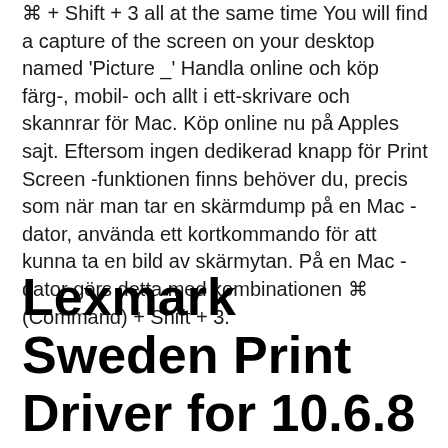⌘ + Shift + 3 all at the same time You will find a capture of the screen on your desktop named 'Picture _' Handla online och köp färg-, mobil- och allt i ett-skrivare och skannrar för Mac. Köp online nu på Apples sajt. Eftersom ingen dedikerad knapp för Print Screen -funktionen finns behöver du, precis som när man tar en skärmdump på en Mac -dator, använda ett kortkommando för att kunna ta en bild av skärmytan. På en Mac -dator görs detta med kombinationen ⌘ (Command) + Shift + 3.
Lexmark Sweden Print Driver for 10.6.8 and later Mac OS